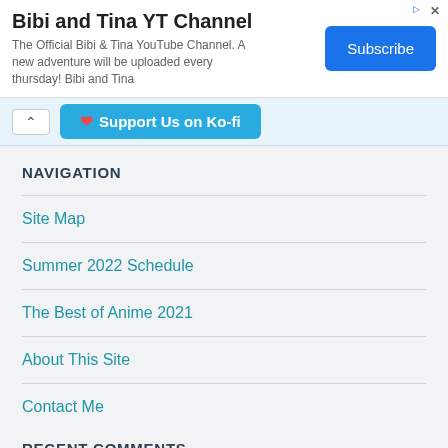[Figure (other): Advertisement banner for Bibi and Tina YT Channel with a Subscribe button]
Support Us on Ko-fi
NAVIGATION
Site Map
Summer 2022 Schedule
The Best of Anime 2021
About This Site
Contact Me
RECENT COMMENTS